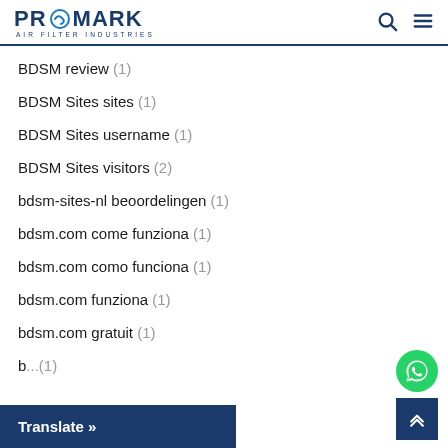PROMARK AIR FILTER INDUSTRIES
BDSM review (1)
BDSM Sites sites (1)
BDSM Sites username (1)
BDSM Sites visitors (2)
bdsm-sites-nl beoordelingen (1)
bdsm.com come funziona (1)
bdsm.com como funciona (1)
bdsm.com funziona (1)
bdsm.com gratuit (1)
b... (1)